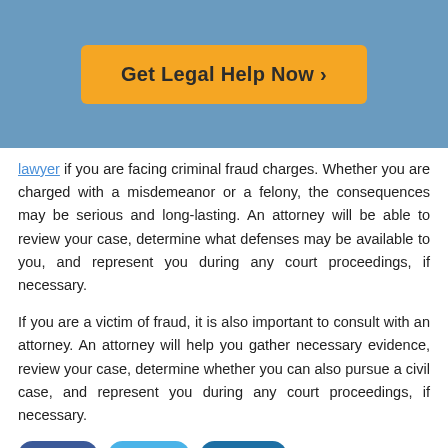[Figure (other): Orange 'Get Legal Help Now >' call-to-action button on a blue background header]
lawyer if you are facing criminal fraud charges. Whether you are charged with a misdemeanor or a felony, the consequences may be serious and long-lasting. An attorney will be able to review your case, determine what defenses may be available to you, and represent you during any court proceedings, if necessary.
If you are a victim of fraud, it is also important to consult with an attorney. An attorney will help you gather necessary evidence, review your case, determine whether you can also pursue a civil case, and represent you during any court proceedings, if necessary.
Share  Tweet  Share
Need a Fraud Lawyer, or Are a...